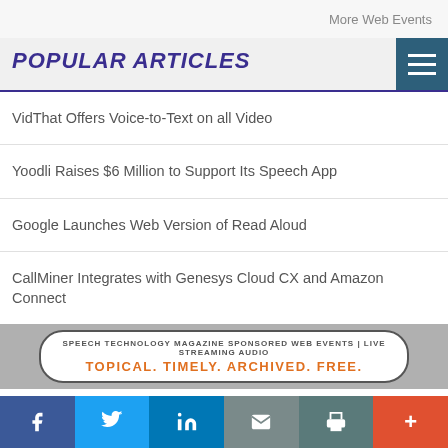More Web Events
POPULAR ARTICLES
VidThat Offers Voice-to-Text on all Video
Yoodli Raises $6 Million to Support Its Speech App
Google Launches Web Version of Read Aloud
CallMiner Integrates with Genesys Cloud CX and Amazon Connect
[Figure (infographic): Ad banner: SPEECH TECHNOLOGY MAGAZINE SPONSORED WEB EVENTS | LIVE STREAMING AUDIO — TOPICAL. TIMELY. ARCHIVED. FREE.]
f  Twitter  in  Email  Print  +